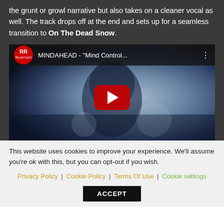the grunt or growl narrative but also takes on a cleaner vocal as well. The track drops off at the end and sets up for a seamless transition to On The Dead Snow.
[Figure (screenshot): YouTube video thumbnail for MINDAHEAD - 'Mind Control...' showing a dark atmospheric image with a skull/figure in blue-white tones, with a red YouTube play button in the center and the YouTube channel logo (RR - Revolver/Relentless Records) in the top left corner.]
This website uses cookies to improve your experience. We'll assume you're ok with this, but you can opt-out if you wish. Privacy Policy | Cookie Policy | Terms Of Use | Cookie settings ACCEPT